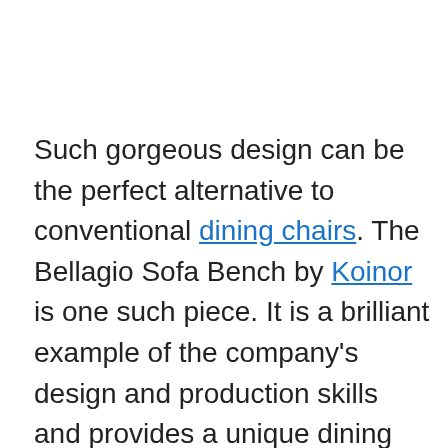Such gorgeous design can be the perfect alternative to conventional dining chairs. The Bellagio Sofa Bench by Koinor is one such piece. It is a brilliant example of the company's design and production skills and provides a unique dining experience. It is made in Germany by skilled craftsmen using quality materials. The sofa bench is upholstered by hand and comes in more than 60 choices of fine leather. It helps you dine in style and can be paired with different dining tables. It